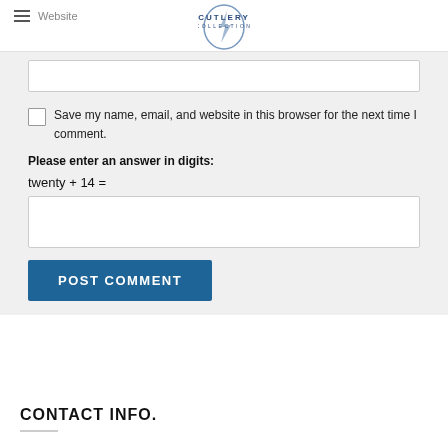Website — Cutlery Collection
Save my name, email, and website in this browser for the next time I comment.
Please enter an answer in digits:
twenty + 14 =
POST COMMENT
CONTACT INFO.